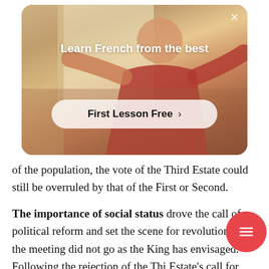[Figure (photo): Advertisement overlay showing a person in a red top with text 'Learn French from the best' and a 'First Lesson Free' button, with an X close button in the top right corner]
of the population, the vote of the Third Estate could still be overruled by that of the First or Second.
The importance of social status drove the call of political reform and set the scene for revolution, and the meeting did not go as the King has envisaged. Following the rejection of the Thi[rd] Estate's call for equal voting rights, they left the Estates-General and formed the National